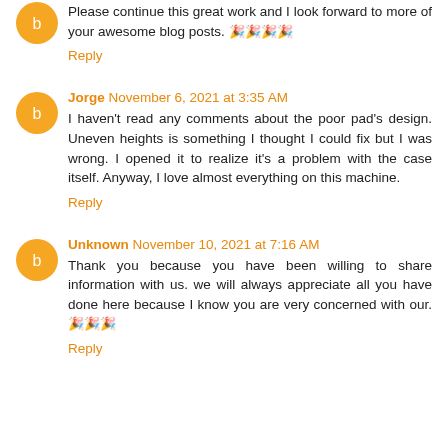Please continue this great work and I look forward to more of your awesome blog posts. 🎉🎉🎉🎉
Reply
Jorge November 6, 2021 at 3:35 AM
I haven't read any comments about the poor pad's design. Uneven heights is something I thought I could fix but I was wrong. I opened it to realize it's a problem with the case itself. Anyway, I love almost everything on this machine.
Reply
Unknown November 10, 2021 at 7:16 AM
Thank you because you have been willing to share information with us. we will always appreciate all you have done here because I know you are very concerned with our. 🎉🎉🎉
Reply